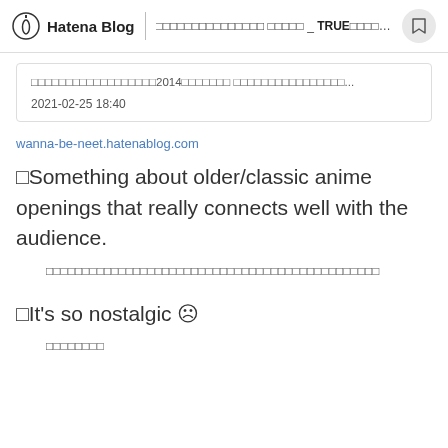Hatena Blog  □□□□□□□□□□□□□□□ □□□□□ _ TRUE□□□□□□□□□□□□□□□...
□□□□□□□□□□□□□□□□□□2014□□□□□□□ □□□□□□□□□□□□□□□□...  2021-02-25 18:40
wanna-be-neet.hatenablog.com
□Something about older/classic anime openings that really connects well with the audience.
□□□□□□□□□□□□□□□□□□□□□□□□□□□□□□□□□□□□□□□□□□□□□□
□It's so nostalgic ☹
□□□□□□□□